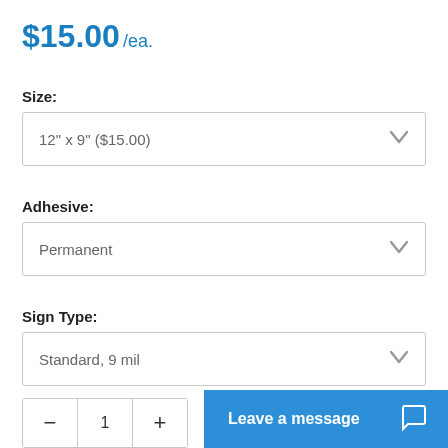$15.00 /ea.
Size:
12" x 9" ($15.00)
Adhesive:
Permanent
Sign Type:
Standard, 9 mil
1
Leave a message